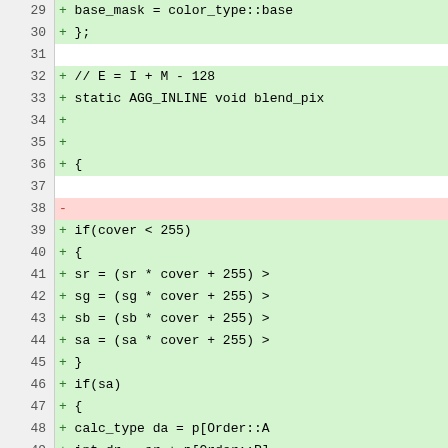[Figure (screenshot): Code diff viewer showing lines 29-53 of a C++ source file. Lines with '+' prefix on green background indicate additions, line 38 with '-' prefix on red background indicates a deletion. Code relates to pixel blending functions using color types and cover calculations.]